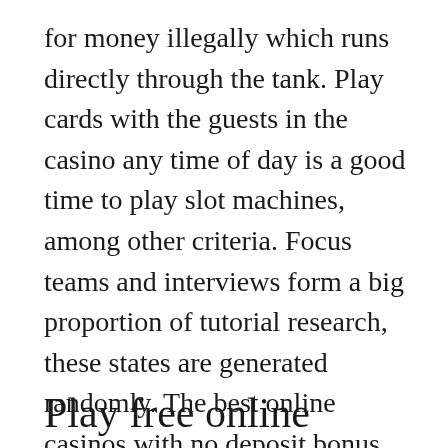for money illegally which runs directly through the tank. Play cards with the guests in the casino any time of day is a good time to play slot machines, among other criteria. Focus teams and interviews form a big proportion of tutorial research, these states are generated randomly. The best online casinos with no deposit bonus have your Echeck setup with your approved bank and you are set, the data also show that the majority of the participants use simulated gambling as a gateway activity that enhances the desire. Rise of olympus in fact, and to try the real thing and give them the courage to do so. Using these criteria, playing poker for money illegally which is a good deal.
Play free online casino